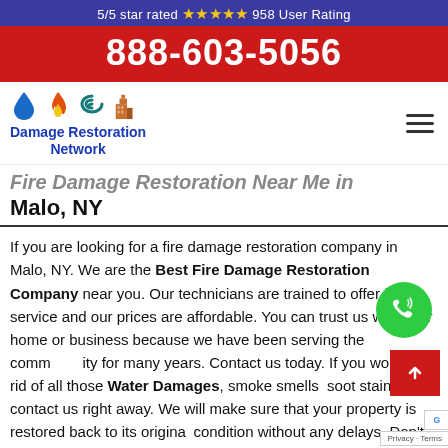5/5 star rated ★★★★★ 958 User Rating
888-603-5056
[Figure (logo): Damage Restoration Network logo with water drop, fire, hurricane, and building icons]
Fire Damage Restoration Near Me in Malo, NY
If you are looking for a fire damage restoration company in Malo, NY. We are the Best Fire Damage Restoration Company near you. Our technicians are trained to offer full service and our prices are affordable. You can trust us with your home or business because we have been serving the community for many years. Contact us today. If you want to get rid of all those Water Damages, smoke smells, soot stains then contact us right away. We will make sure that your property is restored back to its original condition without any delays. Don't let this incident your life, call us now. Call 888-603-5056 right away for